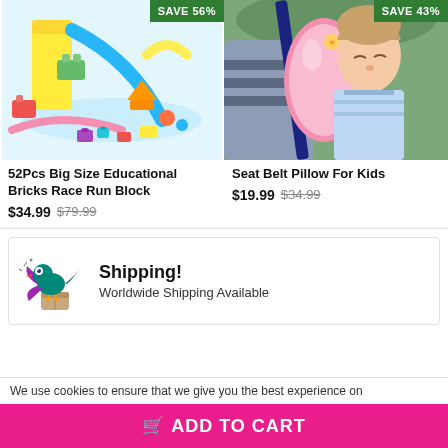[Figure (photo): Colorful 52-piece big size educational building bricks race run block toy set with marble run tracks, displayed with SAVE 56% badge]
[Figure (photo): Child sleeping in car seat using pink seat belt pillow/cushion on shoulder strap, with SAVE 43% badge]
52Pcs Big Size Educational Bricks Race Run Block
$34.99  $79.99
Seat Belt Pillow For Kids
$19.99  $34.99
[Figure (illustration): Cartoon bird mascot carrying a package, representing shipping]
Shipping!
Worldwide Shipping Available
We use cookies to ensure that we give you the best experience on
ADD TO CART